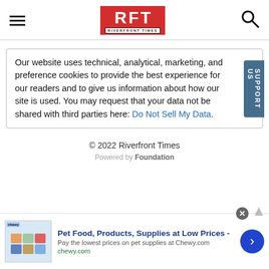RFT RIVERFRONT TIMES
Our website uses technical, analytical, marketing, and preference cookies to provide the best experience for our readers and to give us information about how our site is used. You may request that your data not be shared with third parties here: Do Not Sell My Data.
© 2022 Riverfront Times
Powered by Foundation
[Figure (other): Advertisement banner for Chewy.com: Pet Food, Products, Supplies at Low Prices - Pay the lowest prices on pet supplies at Chewy.com]